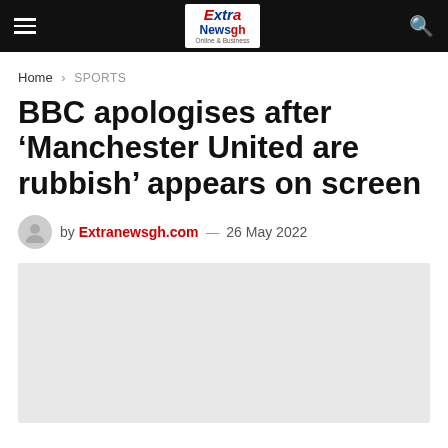Extra Newsgh - Online & Business
Home > SPORTS
BBC apologises after 'Manchester United are rubbish' appears on screen
by Extranewsgh.com — 26 May 2022
[Figure (photo): Article image placeholder, light gray background]